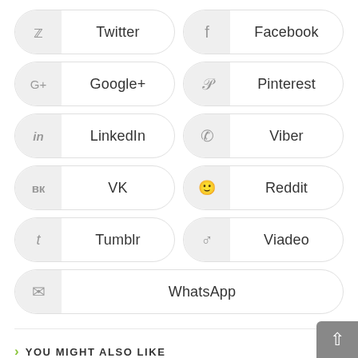Twitter
Facebook
Google+
Pinterest
LinkedIn
Viber
VK
Reddit
Tumblr
Viadeo
WhatsApp
YOU MIGHT ALSO LIKE
Dietary Factors in the Pathogenesis of Asthma